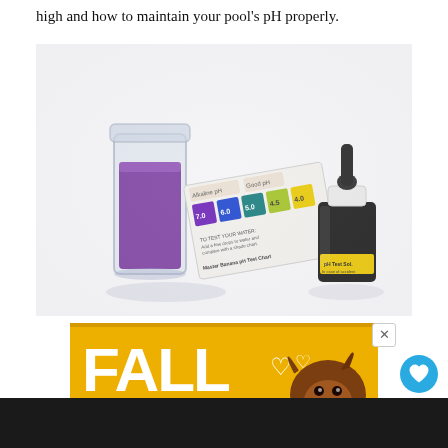high and how to maintain your pool's pH properly.
[Figure (photo): A pool pH test kit showing a small glass vial filled with purple liquid, a pH color chart card (showing colors for pH values 4.0 through 7.0 with alkaline and acidic ranges), and a small dropper bottle of pH indicator solution, all on a white background.]
[Figure (photo): Advertisement banner showing 'FALL HEAD' text in large white bold letters on a golden/yellow background with a Chihuahua dog image and heart graphics. Partially cut off at bottom.]